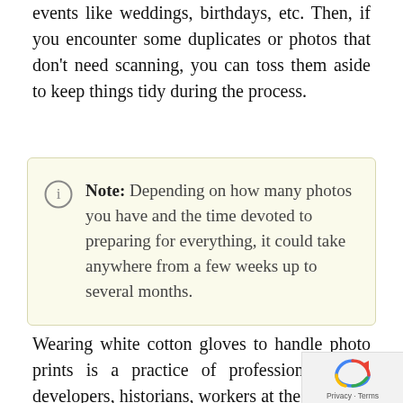events like weddings, birthdays, etc. Then, if you encounter some duplicates or photos that don't need scanning, you can toss them aside to keep things tidy during the process.
Note: Depending on how many photos you have and the time devoted to preparing for everything, it could take anywhere from a few weeks up to several months.
Wearing white cotton gloves to handle photo prints is a practice of professional photo developers, historians, workers at the museum, and many more. Still, it can be cumbersome and make picking up prints difficult. If you don't want the hassle of wearing white gloves, always wash your hands with soap and rinse well so that any dirt and grease don't smudge your photos.